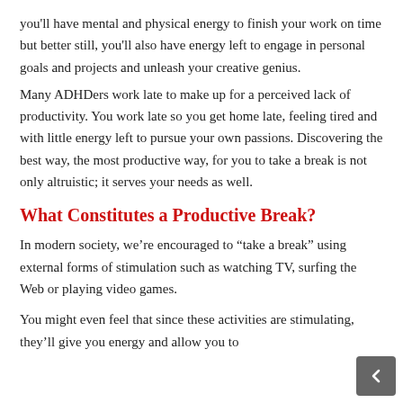you'll have mental and physical energy to finish your work on time but better still, you'll also have energy left to engage in personal goals and projects and unleash your creative genius.
Many ADHDers work late to make up for a perceived lack of productivity. You work late so you get home late, feeling tired and with little energy left to pursue your own passions. Discovering the best way, the most productive way, for you to take a break is not only altruistic; it serves your needs as well.
What Constitutes a Productive Break?
In modern society, we're encouraged to “take a break” using external forms of stimulation such as watching TV, surfing the Web or playing video games.
You might even feel that since these activities are stimulating, they'll give you energy and allow you to